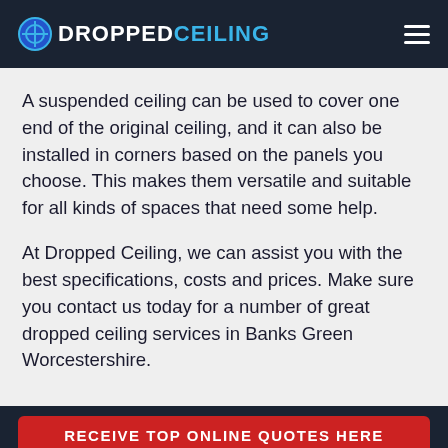DROPPEDCEILING
A suspended ceiling can be used to cover one end of the original ceiling, and it can also be installed in corners based on the panels you choose. This makes them versatile and suitable for all kinds of spaces that need some help.
At Dropped Ceiling, we can assist you with the best specifications, costs and prices. Make sure you contact us today for a number of great dropped ceiling services in Banks Green Worcestershire.
RECEIVE TOP ONLINE QUOTES HERE
Enquire Now